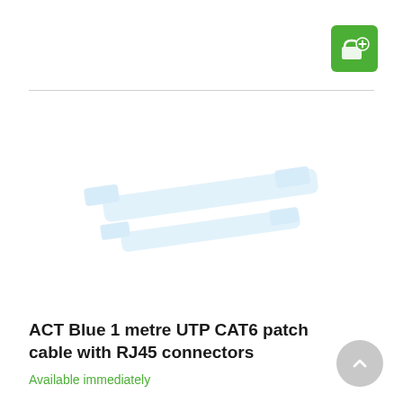[Figure (logo): Green rounded-square button with white shopping basket and plus icon, positioned top-right]
[Figure (photo): Product image of a light blue UTP CAT6 patch cable, shown diagonally against white background, faint/washed-out appearance]
ACT Blue 1 metre UTP CAT6 patch cable with RJ45 connectors
Available immediately
[Figure (other): Gray circular back-to-top button with white upward chevron arrow, bottom-right corner]